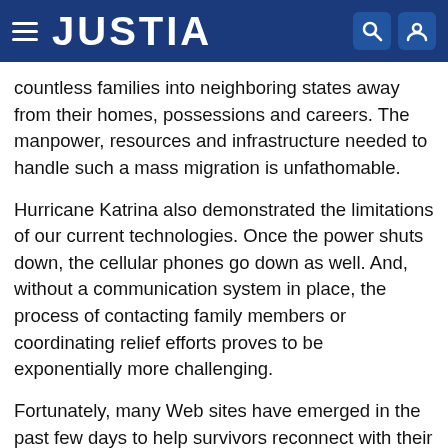JUSTIA
countless families into neighboring states away from their homes, possessions and careers. The manpower, resources and infrastructure needed to handle such a mass migration is unfathomable.
Hurricane Katrina also demonstrated the limitations of our current technologies. Once the power shuts down, the cellular phones go down as well. And, without a communication system in place, the process of contacting family members or coordinating relief efforts proves to be exponentially more challenging.
Fortunately, many Web sites have emerged in the past few days to help survivors reconnect with their family members. Let me share with you some Web sites that I've visited to keep up with Hurricane Katrina news.
Continue reading →